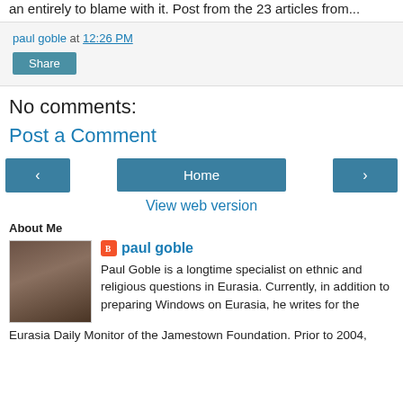an entirely to blame with it. Post from the 23 articles from...
paul goble at 12:26 PM
Share
No comments:
Post a Comment
< Home >
View web version
About Me
paul goble
Paul Goble is a longtime specialist on ethnic and religious questions in Eurasia. Currently, in addition to preparing Windows on Eurasia, he writes for the Eurasia Daily Monitor of the Jamestown Foundation. Prior to 2004,